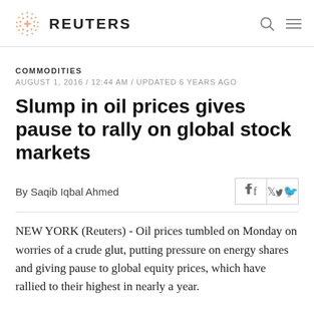REUTERS
COMMODITIES
AUGUST 1, 2016 / 12:44 AM / UPDATED 6 YEARS AGO
Slump in oil prices gives pause to rally on global stock markets
By Saqib Iqbal Ahmed
NEW YORK (Reuters) - Oil prices tumbled on Monday on worries of a crude glut, putting pressure on energy shares and giving pause to global equity prices, which have rallied to their highest in nearly a year.